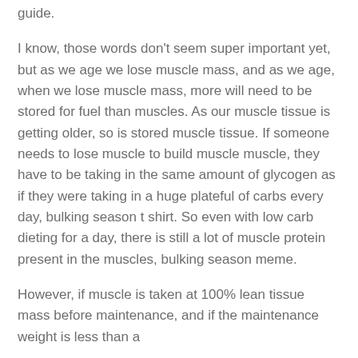guide.
I know, those words don't seem super important yet, but as we age we lose muscle mass, and as we age, when we lose muscle mass, more will need to be stored for fuel than muscles. As our muscle tissue is getting older, so is stored muscle tissue. If someone needs to lose muscle to build muscle muscle, they have to be taking in the same amount of glycogen as if they were taking in a huge plateful of carbs every day, bulking season t shirt. So even with low carb dieting for a day, there is still a lot of muscle protein present in the muscles, bulking season meme.
However, if muscle is taken at 100% lean tissue mass before maintenance, and if the maintenance weight is less than a